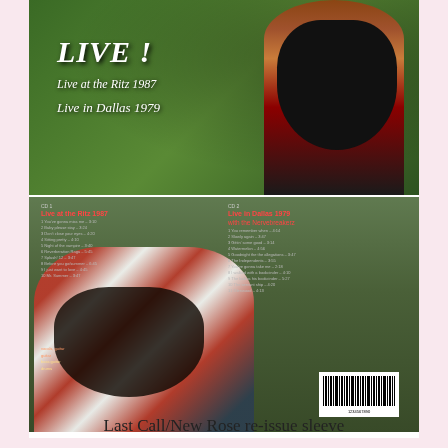[Figure (photo): Top image: CD front cover showing a bearded man against green background with text LIVE! Live at the Ritz 1987, Live in Dallas 1979]
[Figure (photo): Bottom image: CD back cover showing tracklist for two CDs - CD1: Live at the Ritz 1987 and CD2: Live in Dallas 1979 with the Nervebreakerz, with bearded man in plaid shirt and barcode]
Last Call/New Rose re-issue sleeve